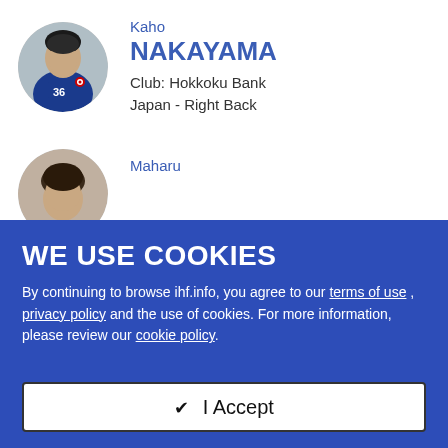[Figure (photo): Circular avatar photo of Kaho Nakayama, a handball player wearing a blue Japanese national team jersey]
Kaho
NAKAYAMA
Club: Hokkoku Bank
Japan - Right Back
[Figure (photo): Circular avatar photo of Maharu, partially visible, showing top of head and face]
Maharu
WE USE COOKIES
By continuing to browse ihf.info, you agree to our terms of use , privacy policy and the use of cookies. For more information, please review our cookie policy.
✔ I Accept